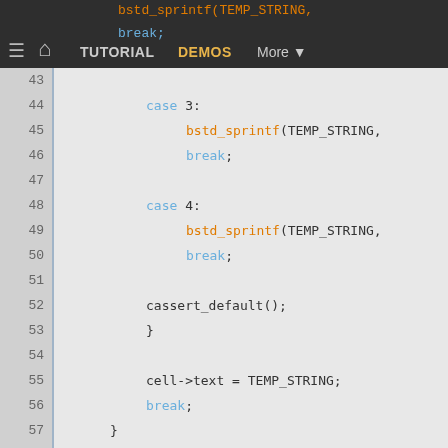TUTORIAL  DEMOS  More
[Figure (screenshot): Code editor showing C code lines 43-66 with syntax highlighting. Blue keywords, orange function names, gray/dark text.]